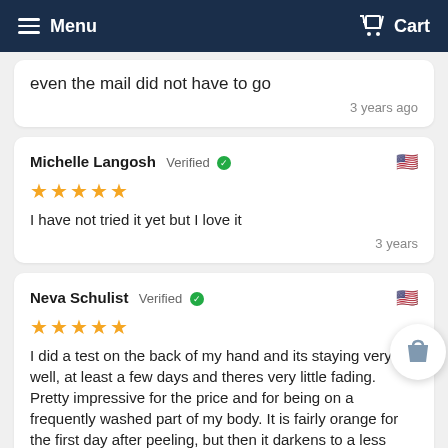Menu  Cart
even the mail did not have to go
3 years ago
Michelle Langosh  Verified
★★★★★
I have not tried it yet but I love it
3 years
Neva Schulist  Verified
★★★★★
I did a test on the back of my hand and its staying very well, at least a few days and theres very little fading. Pretty impressive for the price and for being on a frequently washed part of my body. It is fairly orange for the first day after peeling, but then it darkens to a less orange